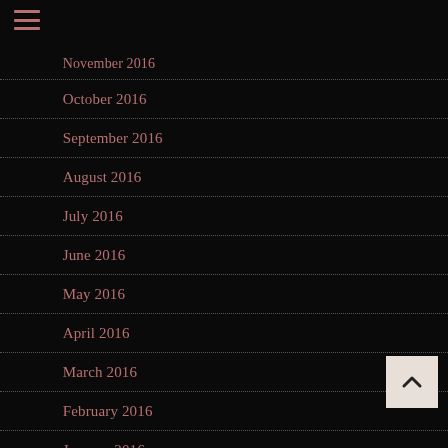November 2016
October 2016
September 2016
August 2016
July 2016
June 2016
May 2016
April 2016
March 2016
February 2016
January 2016
December 2015